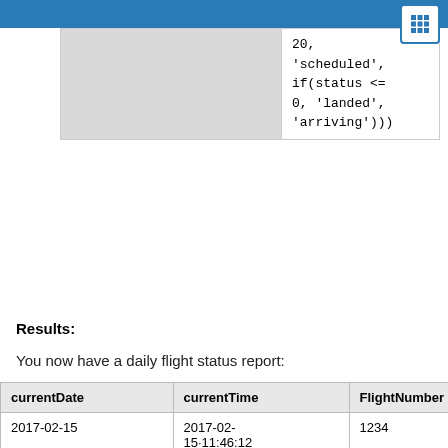[Figure (screenshot): Code snippet table showing SQL/formula logic: 20, 'scheduled', if(status <= 0, 'landed', 'arriving')))]
Results:
You now have a daily flight status report:
| currentDate | currentTime | FlightNumber | Gate | Ar... |
| --- | --- | --- | --- | --- |
| 2017-02-15 | 2017-02-15·11:46:12 | 1234 | 1 | 2/...11 |
| 2017-02-15 | 2017-02-15·11:46:12 | 212 | 2 | 2/...11 |
| 2017-02-15 | 2017-02-15·11:46:12 | 510 | 3 | 2/...11 |
| 2017-02-15 | 2017-02-15... | 8401 | 4 | 2/... |